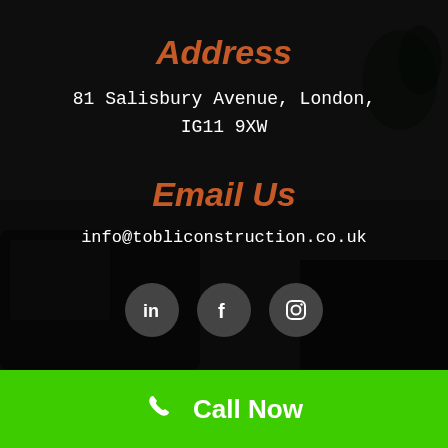Address
81 Salisbury Avenue, London, IG11 9XW
Email Us
info@tobliconstruction.co.uk
[Figure (illustration): Three social media icons (LinkedIn, Facebook, Instagram) in dark circular buttons]
[Figure (infographic): Green footer bar with phone icon and Call Now text]